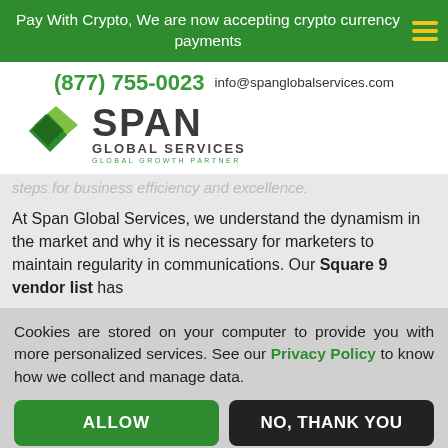Pay With Crypto, We are now accepting crypto currency payments
(877) 755-0023  info@spanglobalservices.com
[Figure (logo): Span Global Services logo with green diamond shapes and company name]
steps for business efficiency and excellence.
At Span Global Services, we understand the dynamism in the market and why it is necessary for marketers to maintain regularity in communications. Our Square 9 vendor list has
Cookies are stored on your computer to provide you with more personalized services. See our Privacy Policy to know how we collect and manage data.
ALLOW
NO, THANK YOU
Why not leave us a message?